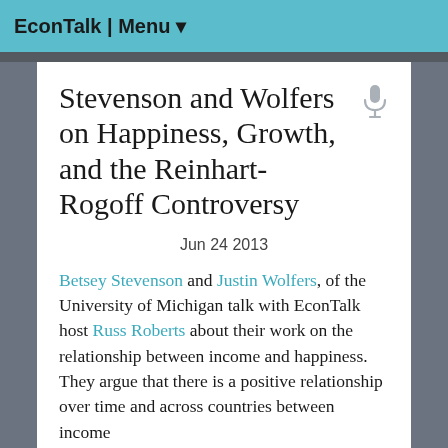EconTalk | Menu ▾
Stevenson and Wolfers on Happiness, Growth, and the Reinhart-Rogoff Controversy
Jun 24 2013
Betsey Stevenson and Justin Wolfers, of the University of Michigan talk with EconTalk host Russ Roberts about their work on the relationship between income and happiness. They argue that there is a positive relationship over time and across countries between income